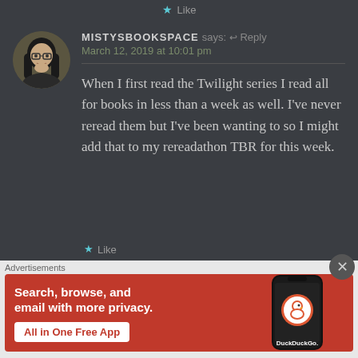Like
MISTYSBOOKSPACE says: ↩ Reply
March 12, 2019 at 10:01 pm

When I first read the Twilight series I read all for books in less than a week as well. I've never reread them but I've been wanting to so I might add that to my rereadathon TBR for this week.
[Figure (other): DuckDuckGo advertisement banner: orange background with text 'Search, browse, and email with more privacy. All in One Free App' on the left, and a smartphone displaying the DuckDuckGo app on the right with 'DuckDuckGo.' branding.]